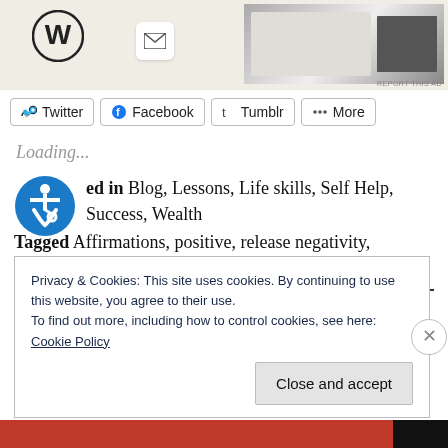[Figure (screenshot): Advertisement banner with WordPress logo, email icon, and product images on right side with 'REPORT THIS AD' text]
Twitter
Facebook
Tumblr
More
Loading...
[Figure (illustration): Blue circular accessibility icon with wheelchair symbol]
ed in Blog, Lessons, Life skills, Self Help, Success, Wealth
Tagged Affirmations, positive, release negativity, subconscious, Success, unconscious mind
Privacy & Cookies: This site uses cookies. By continuing to use this website, you agree to their use.
To find out more, including how to control cookies, see here:
Cookie Policy
Close and accept